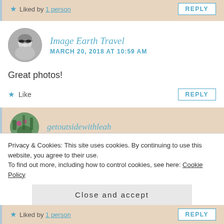Liked by 1 person
REPLY
Image Earth Travel
MARCH 20, 2018 AT 10:59 AM
[Figure (photo): Black and white circular avatar photo of a woman with sunglasses and light hair]
Great photos!
Like
REPLY
[Figure (photo): Circular avatar photo with colorful outdoor scene]
getoutsidewithleah
Privacy & Cookies: This site uses cookies. By continuing to use this website, you agree to their use.
To find out more, including how to control cookies, see here: Cookie Policy
Close and accept
Liked by 1 person
REPLY